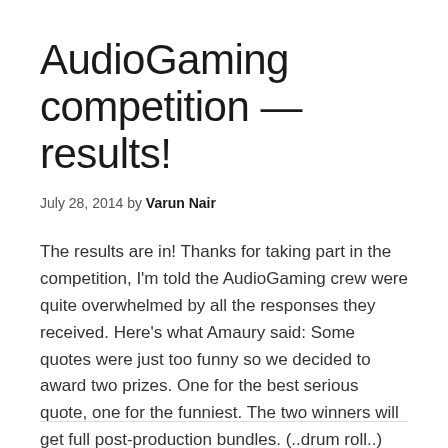AudioGaming competition — results!
July 28, 2014 by Varun Nair
The results are in! Thanks for taking part in the competition, I'm told the AudioGaming crew were quite overwhelmed by all the responses they received. Here's what Amaury said: Some quotes were just too funny so we decided to award two prizes. One for the best serious quote, one for the funniest. The two winners will get full post-production bundles. (..drum roll..) Serious … [Read more...]